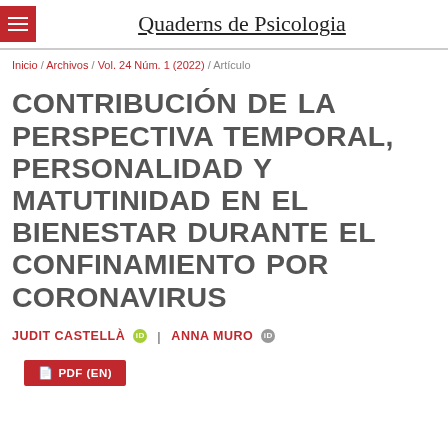Quaderns de Psicologia
Inicio / Archivos / Vol. 24 Núm. 1 (2022) / Artículo
CONTRIBUCIÓN DE LA PERSPECTIVA TEMPORAL, PERSONALIDAD Y MATUTINIDAD EN EL BIENESTAR DURANTE EL CONFINAMIENTO POR CORONAVIRUS
JUDIT CASTELLÀ | ANNA MURO
PDF (EN)